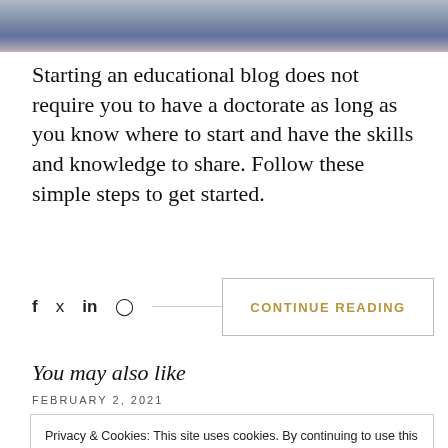[Figure (photo): Top portion of a photo showing stacked books or notebooks with blurred background]
Starting an educational blog does not require you to have a doctorate as long as you know where to start and have the skills and knowledge to share. Follow these simple steps to get started.
Social share icons: f (Facebook), Twitter bird, in (LinkedIn), Pinterest
CONTINUE READING
You may also like
FEBRUARY 2, 2021
Privacy & Cookies: This site uses cookies. By continuing to use this website, you agree to their use.
To find out more, including how to control cookies, see here: Cookie Policy
Close and accept